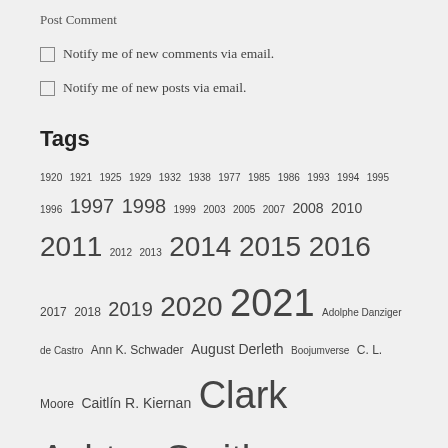Post Comment
☐ Notify me of new comments via email.
☐ Notify me of new posts via email.
Tags
1920 1921 1925 1929 1932 1938 1977 1985 1986 1993 1994 1995 1996 1997 1998 1999 2003 2005 2007 2008 2010 2011 2012 2013 2014 2015 2016 2017 2018 2019 2020 2021 Adolphe Danziger de Castro Ann K. Schwader August Derleth Boojumverse C. L. Moore Caitlín R. Kiernan Clark Ashton Smith comic Conan Cthulhu's Daughters Cthulhu